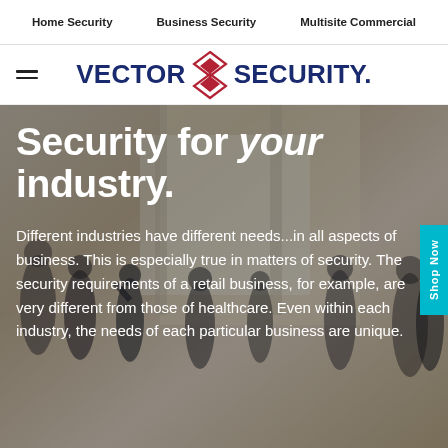Home Security   Business Security   Multisite Commercial
[Figure (logo): Vector Security logo with hamburger menu icon on the left, diamond-shaped red geometric logo mark in center, and 'VECTOR SECURITY.' text in navy blue]
[Figure (photo): Hero image of blurred silhouettes of business people in a bright office/lobby setting with warm golden tones, overlaid with dark blue tint]
Security for your industry.
Different industries have different needs...in all aspects of business. This is especially true in matters of security. The security requirements of a retail business, for example, are very different from those of healthcare. Even within each industry, the needs of each particular business are unique.